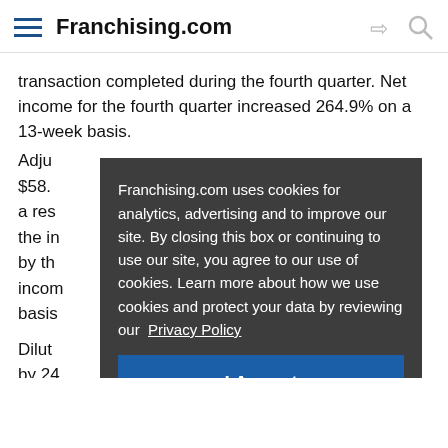Franchising.com
transaction completed during the fourth quarter. Net income for the fourth quarter increased 264.9% on a 13-week basis.
Adjusted... $58.4... a res... the in... by th... incom... basis...
Dilut... by 24... and a... earnings per share remained flat to the prior...
Franchising.com uses cookies for analytics, advertising and to improve our site. By closing this box or continuing to use our site, you agree to our use of cookies. Learn more about how we use cookies and protect your data by reviewing our Privacy Policy
I Accept